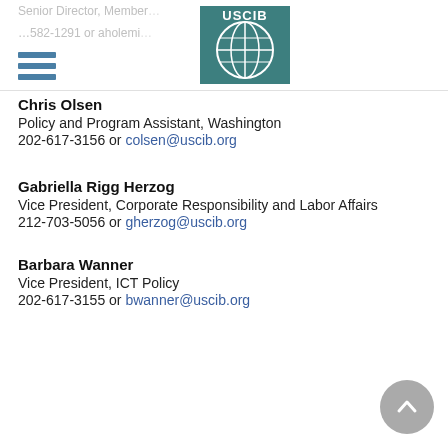[Figure (logo): USCIB logo — teal square with globe graphic and white text 'USCIB']
Senior Director, Member…
…582-1291 or aholemi…
Chris Olsen
Policy and Program Assistant, Washington
202-617-3156 or colsen@uscib.org
Gabriella Rigg Herzog
Vice President, Corporate Responsibility and Labor Affairs
212-703-5056 or gherzog@uscib.org
Barbara Wanner
Vice President, ICT Policy
202-617-3155 or bwanner@uscib.org